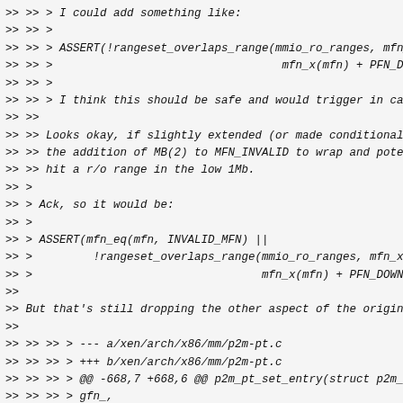>> >> > I could add something like:
>> >> >
>> >> > ASSERT(!rangeset_overlaps_range(mmio_ro_ranges, mfn_x(
>> >> >                                  mfn_x(mfn) + PFN_DOWN(
>> >> >
>> >> > I think this should be safe and would trigger in case
>> >>
>> >> Looks okay, if slightly extended (or made conditional) t
>> >> the addition of MB(2) to MFN_INVALID to wrap and potenti
>> >> hit a r/o range in the low 1Mb.
>> >
>> > Ack, so it would be:
>> >
>> > ASSERT(mfn_eq(mfn, INVALID_MFN) ||
>> >         !rangeset_overlaps_range(mmio_ro_ranges, mfn_x(mfn
>> >                                  mfn_x(mfn) + PFN_DOWN(MB(
>>
>> But that's still dropping the other aspect of the original
>>
>> >> >> > --- a/xen/arch/x86/mm/p2m-pt.c
>> >> >> > +++ b/xen/arch/x86/mm/p2m-pt.c
>> >> >> > @@ -668,7 +668,6 @@ p2m_pt_set_entry(struct p2m_dom
>> >> >> > gfn_,
> mfn_t mfn,
>> >> >> >           }